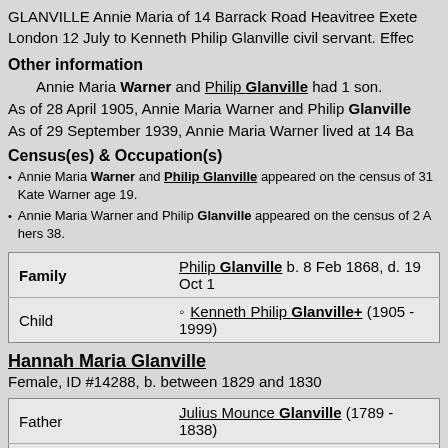GLANVILLE Annie Maria of 14 Barrack Road Heavitree Exeter London 12 July to Kenneth Philip Glanville civil servant. Effe...
Other information
Annie Maria Warner and Philip Glanville had 1 son.
As of 28 April 1905, Annie Maria Warner and Philip Glanville...
As of 29 September 1939, Annie Maria Warner lived at 14 Ba...
Census(es) & Occupation(s)
Annie Maria Warner and Philip Glanville appeared on the census of 31... Kate Warner age 19.
Annie Maria Warner and Philip Glanville appeared on the census of 2 A... hers 38.
| Family | Child |
| --- | --- |
| Philip Glanville b. 8 Feb 1868, d. 19 Oct 1... |
| Kenneth Philip Glanville+ (1905 - 1999) |
Hannah Maria Glanville
Female, ID #14288, b. between 1829 and 1830
| Father | Julius Mounce Glanville (1789 - 1838) |
| Mother | Hanna Crabb (bt 1789 - 1790 - c 1840) |
Alternate Names
Hannah Maria Glanville was also known as Anna 1841 ce...